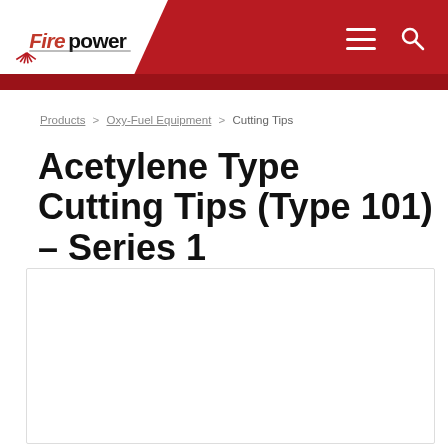Firepower — navigation header with logo, hamburger menu, and search icon
Products > Oxy-Fuel Equipment > Cutting Tips
Acetylene Type Cutting Tips (Type 101) – Series 1
[Figure (photo): Product image area — white box with light border showing product photograph (partially visible)]